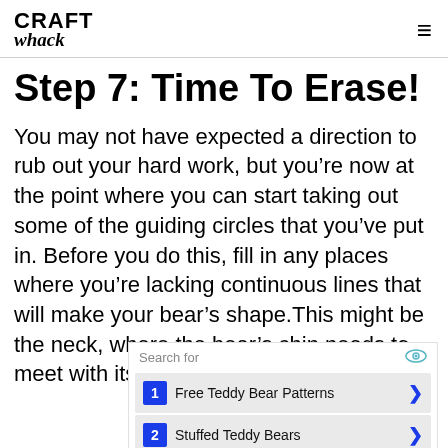CRAFT whack
Step 7: Time To Erase!
You may not have expected a direction to rub out your hard work, but you’re now at the point where you can start taking out some of the guiding circles that you’ve put in. Before you do this, fill in any places where you’re lacking continuous lines that will make your bear’s shape.This might be the neck, where the bear’s chin needs to meet with its head, and between the back
[Figure (infographic): Advertisement block with search results. 'Search for' header with eye icon. Item 1: Free Teddy Bear Patterns with blue arrow. Item 2: Stuffed Teddy Bears with blue arrow. Small ad icon at bottom right.]